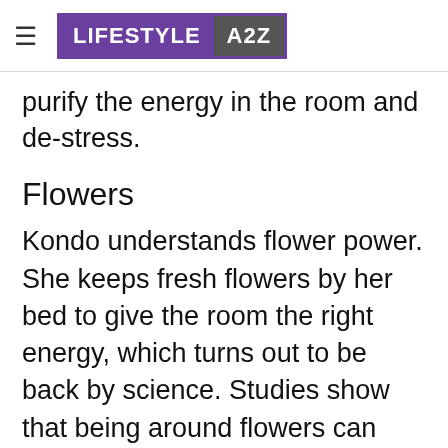≡ LIFESTYLE A2Z
purify the energy in the room and de-stress.
Flowers
Kondo understands flower power. She keeps fresh flowers by her bed to give the room the right energy, which turns out to be back by science. Studies show that being around flowers can have a wonderful impact on a person's health (both physically and mentally.)
Writing pad and a pen